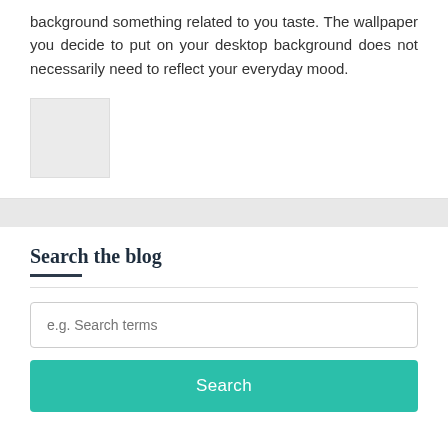background something related to you taste. The wallpaper you decide to put on your desktop background does not necessarily need to reflect your everyday mood.
[Figure (other): A small light gray square image placeholder]
Search the blog
e.g. Search terms
Search